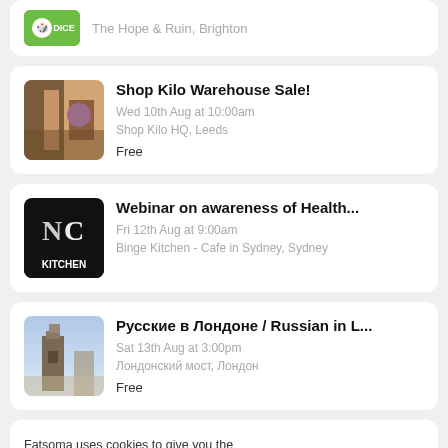The Hope & Ruin, Brighton
Shop Kilo Warehouse Sale! | Wed 10th Aug at 10:00am | Shop Kilo HQ, Leeds | Free
Webinar on awareness of Health... | Fri 12th Aug at 9:00am | Binge Kitchen - Cafe in Sydney, Sydney
Русские в Лондоне / Russian in L... | Sat 13th Aug at 3:00pm | Лондонский мост, Лондон | Free
Fatsoma uses cookies to give you the best experience. View Privacy Policy
Free